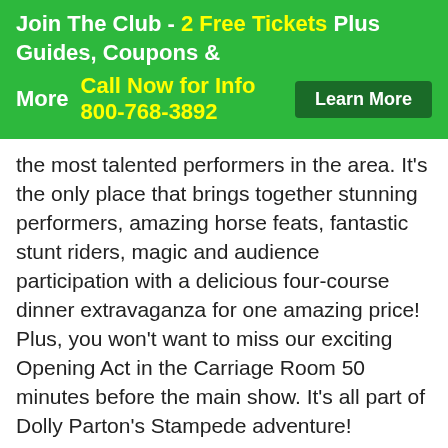Join The Club - 2 Free Tickets Plus Guides, Coupons & More Call Now for Info 800-768-3892   Learn More
the most talented performers in the area. It's the only place that brings together stunning performers, amazing horse feats, fantastic stunt riders, magic and audience participation with a delicious four-course dinner extravaganza for one amazing price! Plus, you won't want to miss our exciting Opening Act in the Carriage Room 50 minutes before the main show. It's all part of Dolly Parton's Stampede adventure!
Doug Gabriel
Do you desire great entertainment? Want to be touched in your heart? Experience the Doug Gabriel but also s Whatever your taste in music you will hear it all,